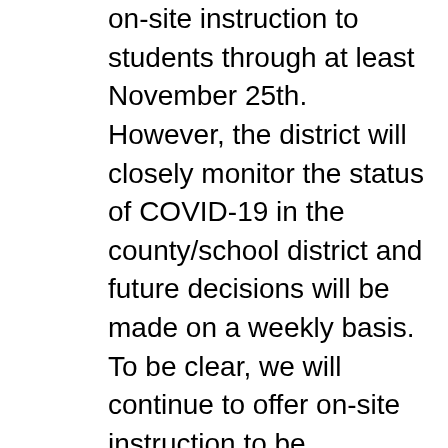on-site instruction to students through at least November 25th. However, the district will closely monitor the status of COVID-19 in the county/school district and future decisions will be made on a weekly basis. To be clear, we will continue to offer on-site instruction to be determined weekly as we move towards Christmas Break. We're grateful to our teachers, instructional assistants and substitute teachers who offer ways for students to stay engaged in effective learning. To provide increased disinfection protocols during in-person learning, our district has recently added additional custodial services. In addition, extra bus drivers were hired to help keep our students and staff safe. It is important to note, while there have been three students who tested positive for COVID-19, it was determined that the students contracted the